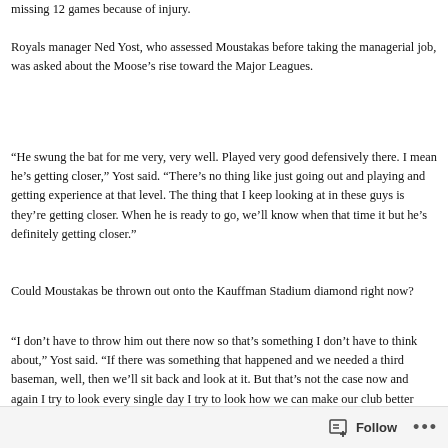missing 12 games because of injury.
Royals manager Ned Yost, who assessed Moustakas before taking the managerial job, was asked about the Moose’s rise toward the Major Leagues.
“He swung the bat for me very, very well. Played very good defensively there. I mean he’s getting closer,” Yost said. “There’s no thing like just going out and playing and getting experience at that level. The thing that I keep looking at in these guys is they’re getting closer. When he is ready to go, we’ll know when that time it but he’s definitely getting closer.”
Could Moustakas be thrown out onto the Kauffman Stadium diamond right now?
“I don’t have to throw him out there now so that’s something I don’t have to think about,” Yost said. “If there was something that happened and we needed a third baseman, well, then we’ll sit back and look at it. But that’s not the case now and again I try to look every single day I try to look how we can make our club better with the guys here. He’s definitely in the
Follow ...